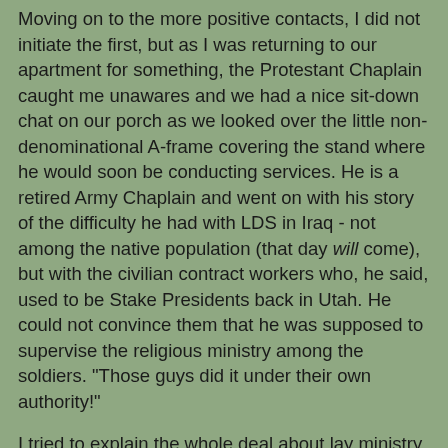Moving on to the more positive contacts, I did not initiate the first, but as I was returning to our apartment for something, the Protestant Chaplain caught me unawares and we had a nice sit-down chat on our porch as we looked over the little non-denominational A-frame covering the stand where he would soon be conducting services. He is a retired Army Chaplain and went on with his story of the difficulty he had with LDS in Iraq - not among the native population (that day will come), but with the civilian contract workers who, he said, used to be Stake Presidents back in Utah. He could not convince them that he was supposed to supervise the religious ministry among the soldiers. "Those guys did it under their own authority!"
I tried to explain the whole deal about lay ministry as opposed to professional clergy. It is another historical/spiritual tension not likely to be resolved by me. "They didn't even have any training in the Ministry!" he exclaimed. He actually asked me to take the concern back home to Salt Lake to discuss it with the LDS leaders. I didn't have the heart to tell him that my contacts are limited to one Seventy Emeritus who still works the small, family peach